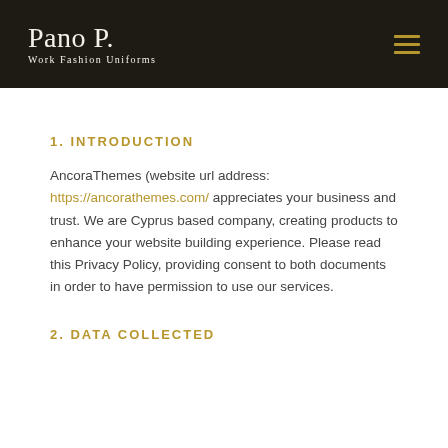Pano P. Work Fashion Uniforms
1. INTRODUCTION
AncoraThemes (website url address: https://ancorathemes.com/ appreciates your business and trust. We are Cyprus based company, creating products to enhance your website building experience. Please read this Privacy Policy, providing consent to both documents in order to have permission to use our services.
2. DATA COLLECTED